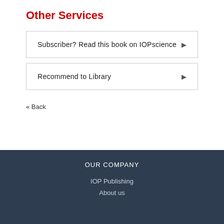Other Services
Subscriber? Read this book on IOPscience
Recommend to Library
« Back
OUR COMPANY
IOP Publishing
About us